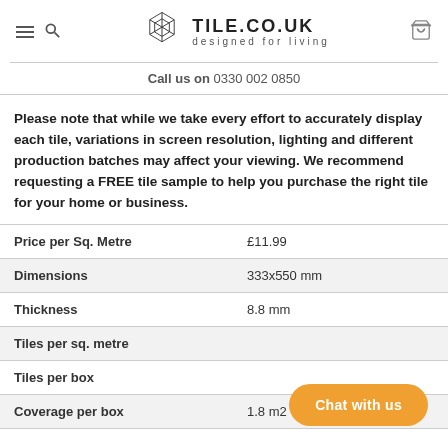[Figure (logo): Tile.co.uk logo with geometric hexagon pattern and text 'TILE.CO.UK designed for living']
Call us on  0330 002 0850
Please note that while we take every effort to accurately display each tile, variations in screen resolution, lighting and different production batches may affect your viewing. We recommend requesting a FREE tile sample to help you purchase the right tile for your home or business.
| Price per Sq. Metre | £11.99 |
| Dimensions | 333x550 mm |
| Thickness | 8.8 mm |
| Tiles per sq. metre |  |
| Tiles per box |  |
| Coverage per box | 1.8 m2 |